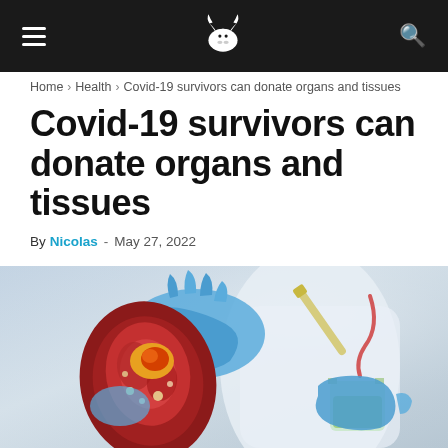Navigation bar with hamburger menu, bull logo, and search icon
Home › Health › Covid-19 survivors can donate organs and tissues
Covid-19 survivors can donate organs and tissues
By Nicolas - May 27, 2022
[Figure (photo): A medical professional in blue gloves holding an anatomical kidney model with a cross-section showing internal kidney structure, alongside a test tube with liquid, in a laboratory setting.]